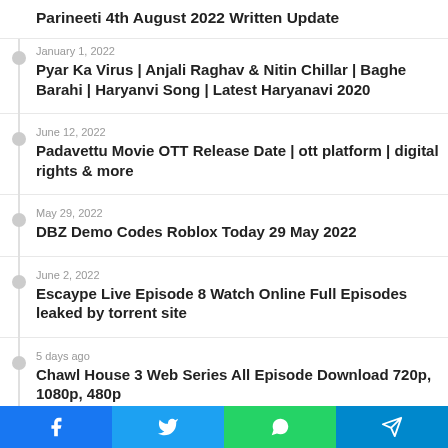Parineeti 4th August 2022 Written Update
January 1, 2022 — Pyar Ka Virus | Anjali Raghav & Nitin Chillar | Baghe Barahi | Haryanvi Song | Latest Haryanavi 2020
June 12, 2022 — Padavettu Movie OTT Release Date | ott platform | digital rights & more
May 29, 2022 — DBZ Demo Codes Roblox Today 29 May 2022
June 2, 2022 — Escaype Live Episode 8 Watch Online Full Episodes leaked by torrent site
5 days ago — Chawl House 3 Web Series All Episode Download 720p, 1080p, 480p
July 5, 2022 — 777 charlie box office collection! how many worldwide & till
[Figure (infographic): Social share bar with Facebook, Twitter, WhatsApp, and Telegram buttons]